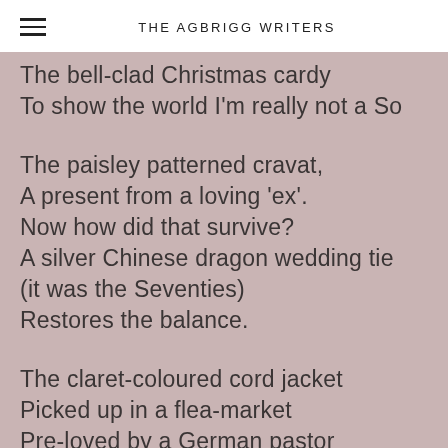THE AGBRIGG WRITERS
The bell-clad Christmas cardy
To show the world I'm really not a Sc
The paisley patterned cravat,
A present from a loving 'ex'.
Now how did that survive?
A silver Chinese dragon wedding tie
(it was the Seventies)
Restores the balance.
The claret-coloured cord jacket
Picked up in a flea-market
Pre-loved by a German pastor
For preaching to the flock
Later by me for secular discourse.